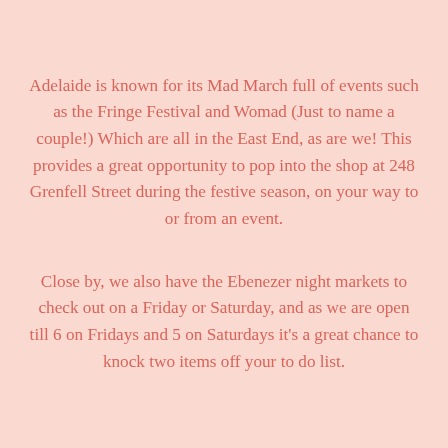Adelaide is known for its Mad March full of events such as the Fringe Festival and Womad (Just to name a couple!) Which are all in the East End, as are we! This provides a great opportunity to pop into the shop at 248 Grenfell Street during the festive season, on your way to or from an event.
Close by, we also have the Ebenezer night markets to check out on a Friday or Saturday, and as we are open till 6 on Fridays and 5 on Saturdays it's a great chance to knock two items off your to do list.